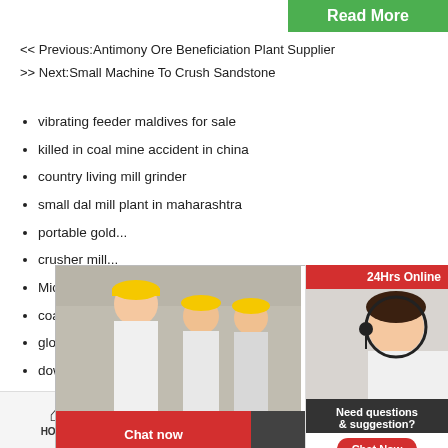Read More
<< Previous:Antimony Ore Beneficiation Plant Supplier
>> Next:Small Machine To Crush Sandstone
vibrating feeder maldives for sale
killed in coal mine accident in china
country living mill grinder
small dal mill plant in maharashtra
portable go...
crusher mil...
Mica Quarr...
coal supply...
global busi...
download b...
philippines ...
roller mill grinding method
how do i calculate 1 cube of crusher to a tonne...
mini rock crusher equipment
Used Mining Equipment For Sale argentina
[Figure (screenshot): Live chat popup overlay with workers in hard hats, LIVE CHAT title in red, Click for a Free Consultation text, Chat now and Chat later buttons]
[Figure (screenshot): Right sidebar with 24Hrs Online header, customer service representative photo, Need questions & suggestion?, Chat Now button, Enquiry section, limingjlmofen]
HOME   PROUDCTS   CASES   limingjlmofen